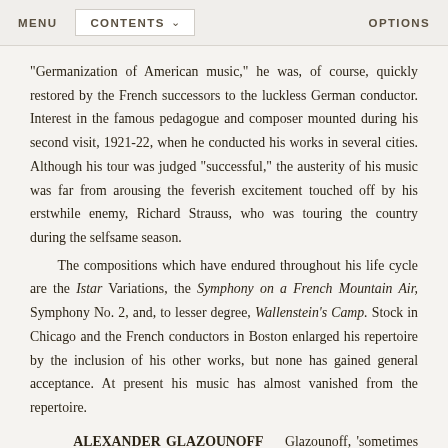MENU   CONTENTS ∨   OPTIONS
“Germanization of American music,” he was, of course, quickly restored by the French successors to the luckless German conductor. Interest in the famous pedagogue and composer mounted during his second visit, 1921-22, when he conducted his works in several cities. Although his tour was judged “successful,” the austerity of his music was far from arousing the feverish excitement touched off by his erstwhile enemy, Richard Strauss, who was touring the country during the selfsame season.
The compositions which have endured throughout his life cycle are the Istar Variations, the Symphony on a French Mountain Air, Symphony No. 2, and, to lesser degree, Wallenstein’s Camp. Stock in Chicago and the French conductors in Boston enlarged his repertoire by the inclusion of his other works, but none has gained general acceptance. At present his music has almost vanished from the repertoire.
ALEXANDER GLAZOUNOFF   Glazounoff, ‘sometimes called the “Russian Mendelssohn,” created a sensation in the i880’s. His music,